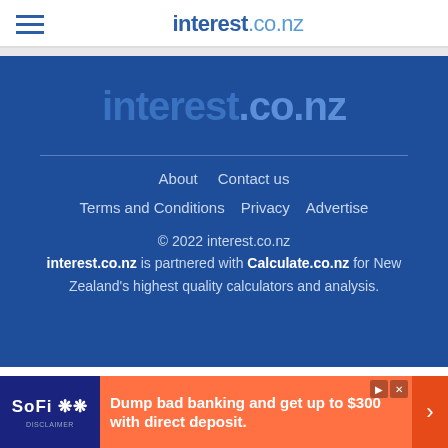interest.co.nz
[Figure (logo): interest.co.nz footer logo on blue background]
About   Contact us
Terms and Conditions   Privacy   Advertise
© 2022 interest.co.nz
interest.co.nz is partnered with Calculate.co.nz for New Zealand's highest quality calculators and analysis.
[Figure (infographic): SoFi advertisement banner: Dump bad banking and get up to $300 with direct deposit.]